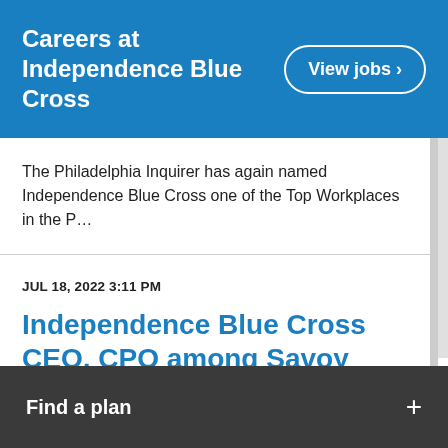Careers at Independence Blue Cross
View jobs ›
The Philadelphia Inquirer has again named Independence Blue Cross one of the Top Workplaces in the P…
JUL 18, 2022 3:11 PM
Independence Blue Cross CEO, CPO among Savoy Magazine’s 2022 Most Infl…
Find a plan